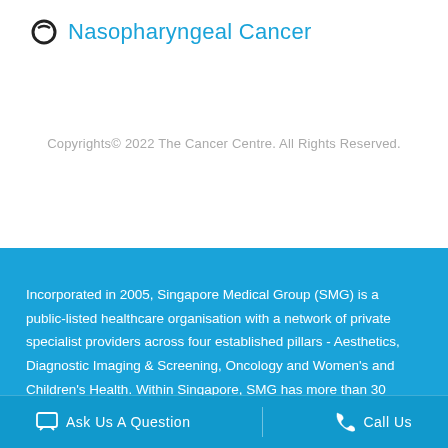Nasopharyngeal Cancer
Copyrights© 2022 The Cancer Centre. All Rights Reserved.
Incorporated in 2005, Singapore Medical Group (SMG) is a public-listed healthcare organisation with a network of private specialist providers across four established pillars - Aesthetics, Diagnostic Imaging & Screening, Oncology and Women's and Children's Health. Within Singapore, SMG has more than 30 clinics strategically located in central Singapore and heartland estates. Beyond Singapore, SMG also has an established presence in
Ask Us A Question   Call Us